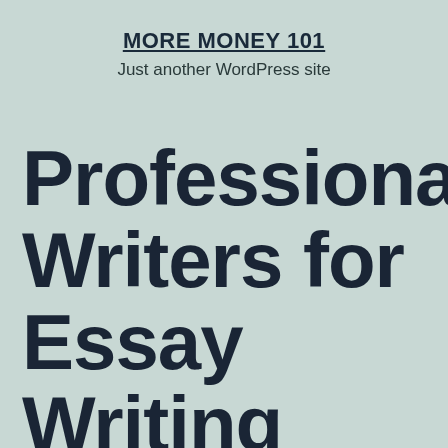MORE MONEY 101
Just another WordPress site
Professional Writers for Essay Writing Service